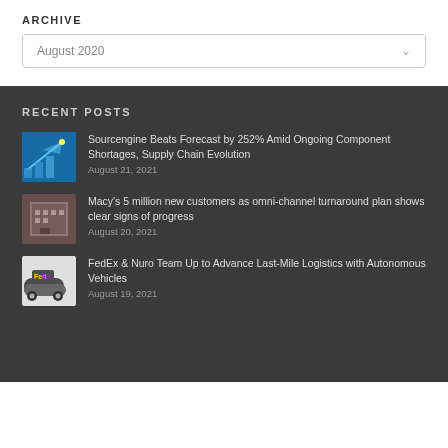ARCHIVE
August 2020
RECENT POSTS
Sourcengine Beats Forecast by 252% Amid Ongoing Component Shortages, Supply Chain Evolution
August 21, 2021
Macy's 5 million new customers as omni-channel turnaround plan shows clear signs of progress
August 20, 2021
FedEx & Nuro Team Up to Advance Last-Mile Logistics with Autonomous Vehicles
August 19, 2021